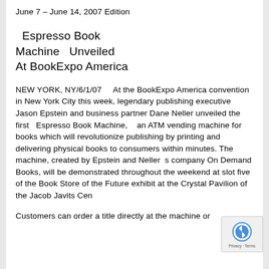June 7 – June 14, 2007 Edition
Espresso Book Machine  Unveiled At BookExpo America
NEW YORK, NY/6/1/07    At the BookExpo America convention in New York City this week, legendary publishing executive Jason Epstein and business partner Dane Neller unveiled the first  Espresso Book Machine,   an ATM vending machine for books which will revolutionize publishing by printing and delivering physical books to consumers within minutes. The machine, created by Epstein and Neller s company On Demand Books, will be demonstrated throughout the weekend at slot five of the Book Store of the Future exhibit at the Crystal Pavilion of the Jacob Javits Cen
Customers can order a title directly at the machine or